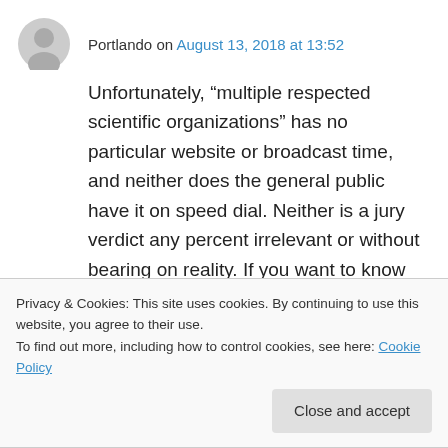Portlando on August 13, 2018 at 13:52
Unfortunately, “multiple respected scientific organizations” has no particular website or broadcast time, and neither does the general public have it on speed dial. Neither is a jury verdict any percent irrelevant or without bearing on reality. If you want to know what multiple respected scientific organizations think about the matter at issue, I’d be very surprised if the jury verdict correlated no better than chance–and I
Privacy & Cookies: This site uses cookies. By continuing to use this website, you agree to their use.
To find out more, including how to control cookies, see here: Cookie Policy